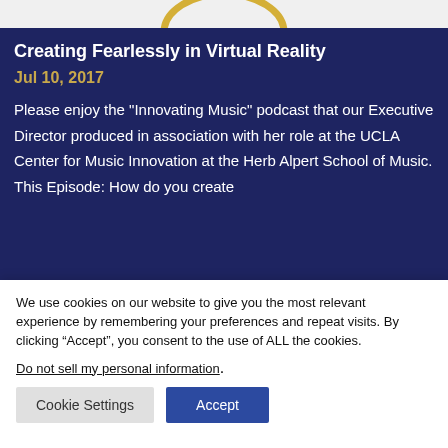[Figure (logo): Partial logo with yellow arc shape on light gray background]
Creating Fearlessly in Virtual Reality
Jul 10, 2017
Please enjoy the "Innovating Music" podcast that our Executive Director produced in association with her role at the UCLA Center for Music Innovation at the Herb Alpert School of Music. This Episode: How do you create
We use cookies on our website to give you the most relevant experience by remembering your preferences and repeat visits. By clicking “Accept”, you consent to the use of ALL the cookies.
Do not sell my personal information.
Cookie Settings
Accept